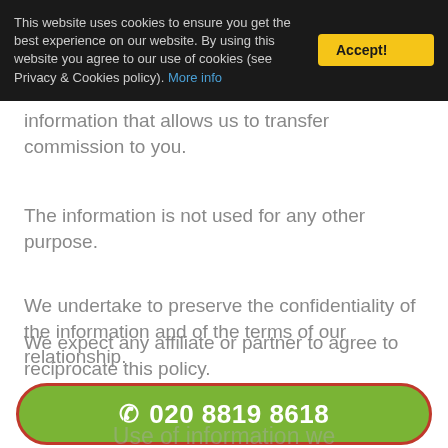This website uses cookies to ensure you get the best experience on our website. By using this website you agree to our use of cookies (see Privacy & Cookies policy). More info
information that allows us to transfer commission to you.
The information is not used for any other purpose.
We undertake to preserve the confidentiality of the information and of the terms of our relationship.
We expect any affiliate or partner to agree to reciprocate this policy.
[Figure (other): Green rounded button with phone icon and phone number: 020 8819 8618, with dark red/orange border]
Use of information we